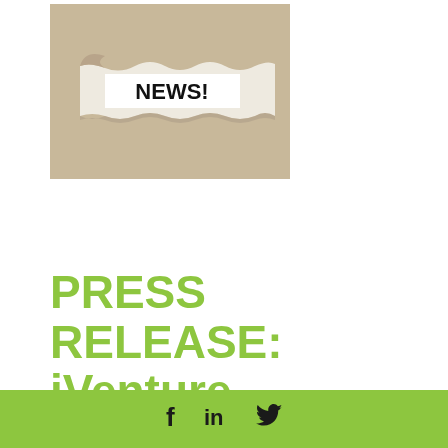[Figure (photo): Photo of torn paper revealing the word NEWS! in bold black text on a white strip, against a beige/kraft paper background.]
PRESS RELEASE: iVenture Solutions Forms Strategic Partnership
Social media icons: Facebook, LinkedIn, Twitter